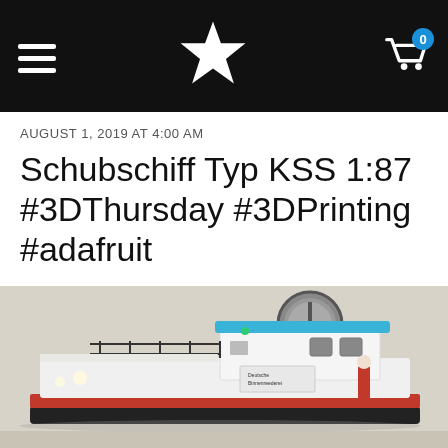Navigation bar with hamburger menu, Adafruit star logo, and shopping cart with badge 0
AUGUST 1, 2019 AT 4:00 AM
Schubschiff Typ KSS 1:87 #3DThursday #3DPrinting #adafruit
[Figure (photo): A 3D printed model of a German pushboat (Schubschiff) type KSS at 1:87 scale, white and blue hull with red stripe, sitting on a surface with a round ventilation port visible on the wall behind it.]